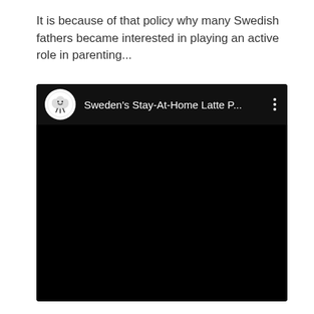It is because of that policy why many Swedish fathers became interested in playing an active role in parenting...
[Figure (screenshot): Embedded video player screenshot showing a YouTube-style video with a circular channel icon (cartoon cloud character) and the title 'Sweden's Stay-At-Home Latte P...' on a dark/black background with a three-dot menu icon.]